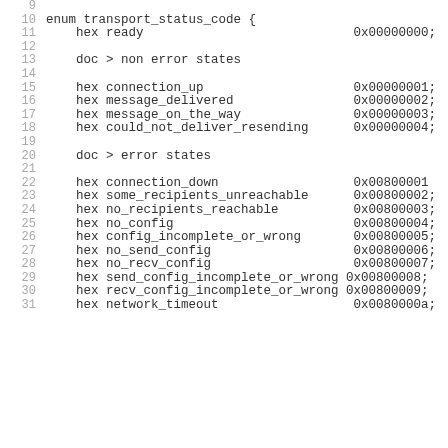Code listing: enum transport_status_code definition with hex values for ready, connection_up, message_delivered, message_on_the_way, could_not_deliver_resending, connection_down, some_recipients_unreachable, no_recipients_reachable, no_config, config_incomplete_or_wrong, no_send_config, no_recv_config, send_config_incomplete_or_wrong, recv_config_incomplete_or_wrong, network_timeout